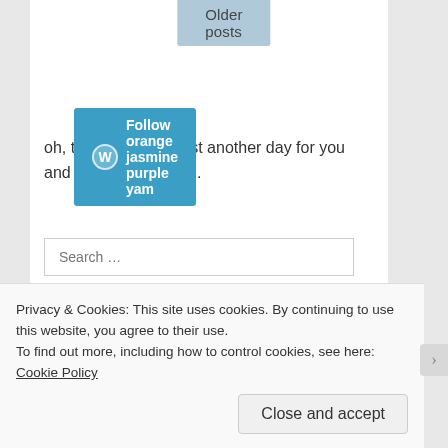[Figure (screenshot): Older posts pagination button in light blue/gray]
[Figure (screenshot): WordPress Follow button in teal/blue with W logo: 'Follow orange jasmine purple yam']
oh, think twice. it's just another day for you and me in fangirl land.
[Figure (screenshot): Search input box with placeholder text 'Search ...']
RSS - Posts
Privacy & Cookies: This site uses cookies. By continuing to use this website, you agree to their use.
To find out more, including how to control cookies, see here: Cookie Policy
[Figure (screenshot): Close and accept button]